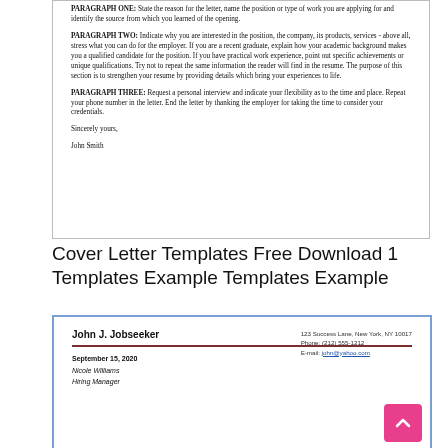[Figure (screenshot): Top portion of a cover letter template showing paragraph instructions and closing with 'Sincerely yours, John Smith']
Cover Letter Templates Free Download 1 Templates Example Templates Example
[Figure (screenshot): Cover letter template showing John J. Jobseeker header with contact info, September 15 2020 date, and Nicole Williams Hiring Manager recipient]